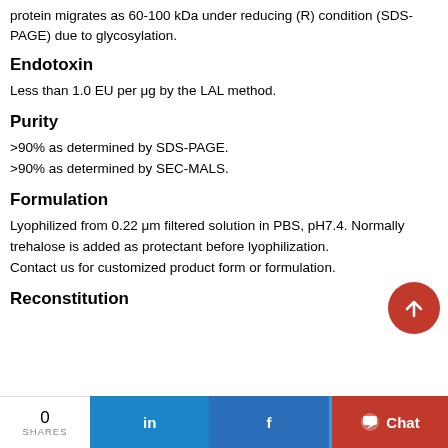protein migrates as 60-100 kDa under reducing (R) condition (SDS-PAGE) due to glycosylation.
Endotoxin
Less than 1.0 EU per μg by the LAL method.
Purity
>90% as determined by SDS-PAGE.
>90% as determined by SEC-MALS.
Formulation
Lyophilized from 0.22 μm filtered solution in PBS, pH7.4. Normally trehalose is added as protectant before lyophilization.
Contact us for customized product form or formulation.
Reconstitution
0 SHARES  in  f  Twitter  Chat